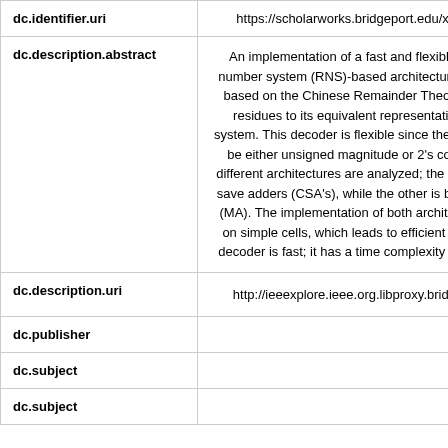| Field | Value |
| --- | --- |
| dc.identifier.uri | https://scholarworks.bridgeport.edu/xm... |
| dc.description.abstract | An implementation of a fast and flexible number system (RNS)-based architectures is based on the Chinese Remainder Theorem residues to its equivalent representation system. This decoder is flexible since the deco... be either unsigned magnitude or 2's comp... different architectures are analyzed; the first o... save adders (CSA's), while the other is based... (MA). The implementation of both architectur... on simple cells, which leads to efficient VLS... decoder is fast; it has a time complexity of O(... |
| dc.description.uri | http://ieeexplore.ieee.org.libproxy.bridge... |
| dc.publisher |  |
| dc.subject |  |
| dc.subject | C... |